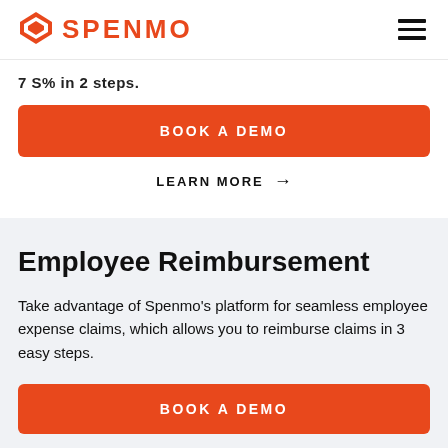SPENMO
7 S% in 2 steps.
BOOK A DEMO
LEARN MORE →
Employee Reimbursement
Take advantage of Spenmo's platform for seamless employee expense claims, which allows you to reimburse claims in 3 easy steps.
BOOK A DEMO